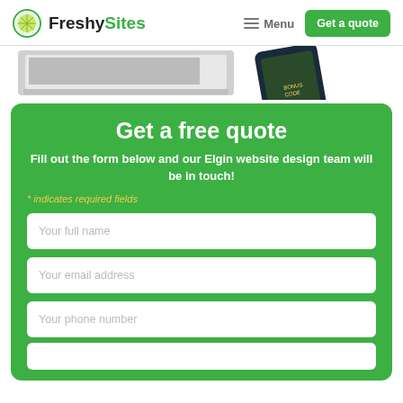FreshySites — Menu | Get a quote
[Figure (photo): Partial view of a laptop and a smartphone showing a website design]
Get a free quote
Fill out the form below and our Elgin website design team will be in touch!
* indicates required fields
Your full name
Your email address
Your phone number